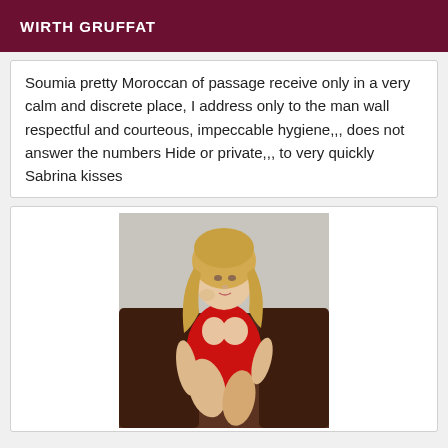WIRTH GRUFFAT
Soumia pretty Moroccan of passage receive only in a very calm and discrete place, I address only to the man wall respectful and courteous, impeccable hygiene,,, does not answer the numbers Hide or private,,, to very quickly Sabrina kisses
[Figure (photo): A blonde woman in a red lingerie outfit seated on a dark brown leather sofa]